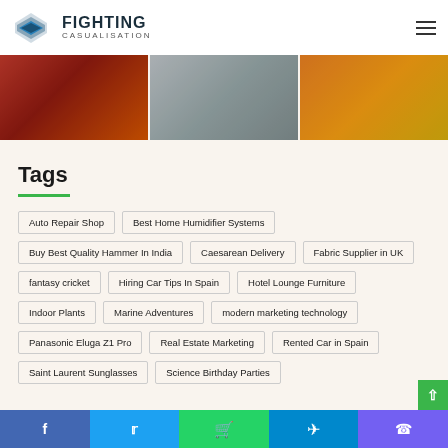FIGHTING CASUALISATION
[Figure (photo): Three horizontal banner images: person at laptop in red-toned office, person handling paper/documents, industrial/factory scene with orange tones]
Tags
Auto Repair Shop
Best Home Humidifier Systems
Buy Best Quality Hammer In India
Caesarean Delivery
Fabric Supplier in UK
fantasy cricket
Hiring Car Tips In Spain
Hotel Lounge Furniture
Indoor Plants
Marine Adventures
modern marketing technology
Panasonic Eluga Z1 Pro
Real Estate Marketing
Rented Car in Spain
Saint Laurent Sunglasses
Science Birthday Parties
Facebook Twitter WhatsApp Telegram Viber social share bar